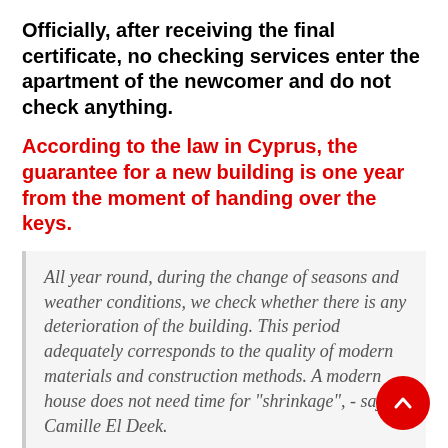Officially, after receiving the final certificate, no checking services enter the apartment of the newcomer and do not check anything.
According to the law in Cyprus, the guarantee for a new building is one year from the moment of handing over the keys.
All year round, during the change of seasons and weather conditions, we check whether there is any deterioration of the building. This period adequately corresponds to the quality of modern materials and construction methods. A modern house does not need time for "shrinkage", - says Camille El Deek.
In accordance with the contract of sale, defects identified during the warranty period are eliminated by the construction company that worked on the building. The warranty includes the correction of load-